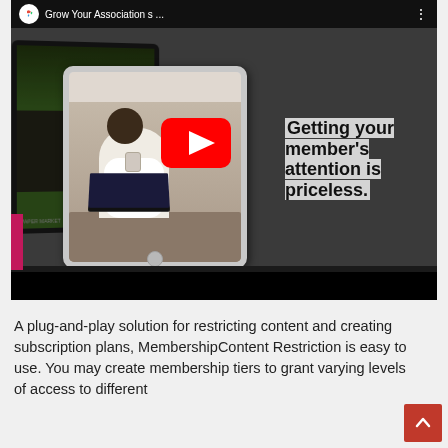[Figure (screenshot): YouTube video embed showing 'Grow Your Association s...' with a thumbnail of a woman with a laptop on a tablet/device mockup, a YouTube play button overlay, text 'Getting your member's attention is priceless.' on the right side, and a black strip at the bottom.]
A plug-and-play solution for restricting content and creating subscription plans, MembershipContent Restriction is easy to use. You may create membership tiers to grant varying levels of access to different